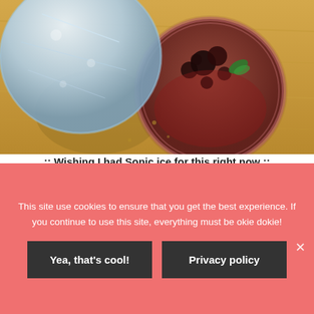[Figure (photo): Top-down view of ice being poured into a glass cocktail with dark berries and red liquid on a wooden surface]
:: Wishing I had Sonic ice for this right now ::
[Figure (photo): Partial view of a second cocktail glass with ice, shown from above]
This site use cookies to ensure that you get the best experience. If you continue to use this site, everything must be okie dokie!
Yea, that's cool!
Privacy policy